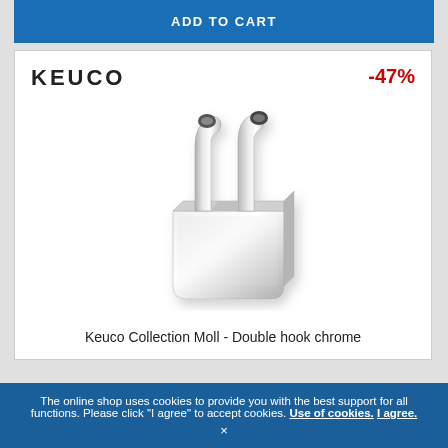ADD TO CART
[Figure (photo): Keuco Collection Moll double hook in chrome finish - a square chrome wall hook with two prongs]
Keuco Collection Moll - Double hook chrome
The online shop uses cookies to provide you with the best support for all functions. Please click "I agree" to accept cookies. Use of cookies. I agree.